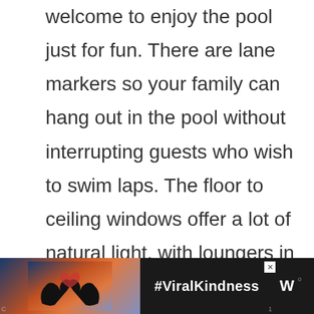welcome to enjoy the pool just for fun. There are lane markers so your family can hang out in the pool without interrupting guests who wish to swim laps. The floor to ceiling windows offer a lot of natural light, with loungers in case you don't feel like swimming with the kids but want to keep an eye
[Figure (infographic): Advertisement banner with dark background showing hands forming a heart shape against a sunset sky, with text #ViralKindness and a logo on the right side]